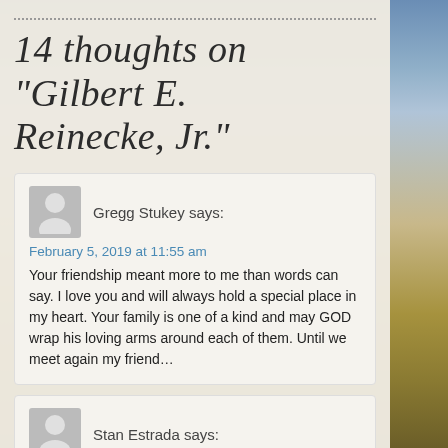14 thoughts on "Gilbert E. Reinecke, Jr."
Gregg Stukey says:
February 5, 2019 at 11:55 am
Your friendship meant more to me than words can say. I love you and will always hold a special place in my heart. Your family is one of a kind and may GOD wrap his loving arms around each of them. Until we meet again my friend…
Stan Estrada says:
February 5, 2019 at 2:52 pm
To my very good friend sorry to hear of your Dad's passing, my thoughts and prayers to you and your family...